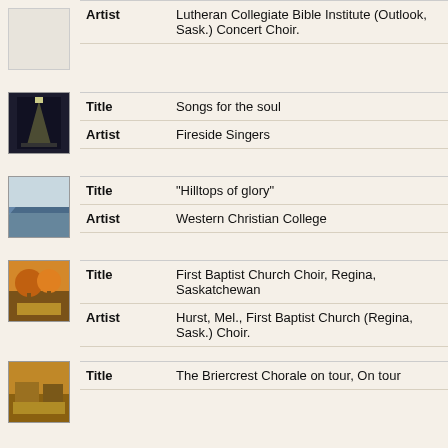Artist: Lutheran Collegiate Bible Institute (Outlook, Sask.) Concert Choir.
[Figure (photo): Album cover thumbnail for Songs for the soul]
| Field | Value |
| --- | --- |
| Title | Songs for the soul |
| Artist | Fireside Singers |
[Figure (photo): Album cover thumbnail for Hilltops of glory]
| Field | Value |
| --- | --- |
| Title | "Hilltops of glory" |
| Artist | Western Christian College |
[Figure (photo): Album cover thumbnail for First Baptist Church Choir]
| Field | Value |
| --- | --- |
| Title | First Baptist Church Choir, Regina, Saskatchewan |
| Artist | Hurst, Mel., First Baptist Church (Regina, Sask.) Choir. |
[Figure (photo): Album cover thumbnail for The Briercrest Chorale on tour]
| Field | Value |
| --- | --- |
| Title | The Briercrest Chorale on tour, On tour |